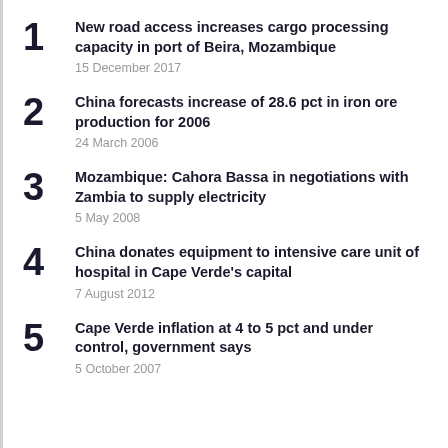New road access increases cargo processing capacity in port of Beira, Mozambique
15 December 2017
China forecasts increase of 28.6 pct in iron ore production for 2006
24 March 2006
Mozambique: Cahora Bassa in negotiations with Zambia to supply electricity
5 May 2008
China donates equipment to intensive care unit of hospital in Cape Verde's capital
7 August 2012
Cape Verde inflation at 4 to 5 pct and under control, government says
5 October 2007